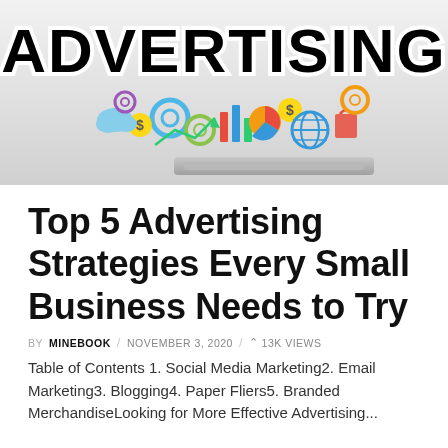[Figure (photo): Header image showing the word ADVERTISING in large bold black text with white outline, above a colorful illustration of marketing and business icons (gears, graphs, dollar signs, social media icons, charts) floating above a tablet device on a light gray background.]
Top 5 Advertising Strategies Every Small Business Needs to Try
BY MINEBOOK / NOVEMBER 3, 2020 / 13K VIEWS
Table of Contents 1. Social Media Marketing2. Email Marketing3. Blogging4. Paper Fliers5. Branded MerchandiseLooking for More Effective Advertising...